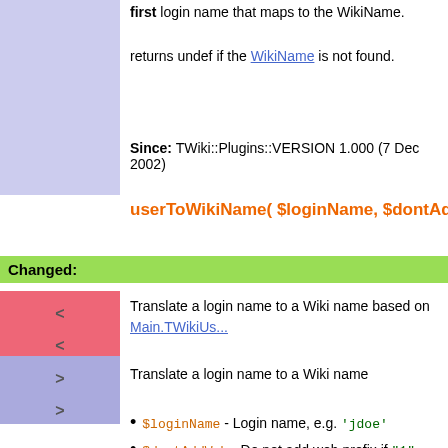first login name that maps to the WikiName. returns undef if the WikiName is not found.
Since: TWiki::Plugins::VERSION 1.000 (7 Dec 2002)
userToWikiName( $loginName, $dontAddWeb ) -> $
Changed:
Translate a login name to a Wiki name based on Main.TWikiUs...
Translate a login name to a Wiki name
$loginName - Login name, e.g. 'jdoe'
$dontAddWeb - Do not add web prefix if "1"
Return: $wikiName Wiki name of user, e.g. 'Main.JohnDoe' or 'J...
Added:
userToWikiName will always return a name, if the user does no... parameter is returned. (backward compatibility)
Since: TWiki::Plugins::VERSION 1.000 (7 Dec 2002)
Added: